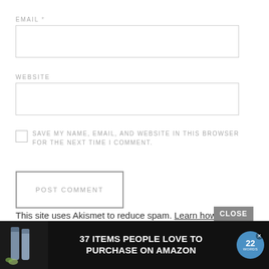EMAIL *
[Figure (other): Empty email input text field with border]
WEBSITE
[Figure (other): Empty website input text field with border]
SAVE MY NAME, EMAIL, AND WEBSITE IN THIS BROWSER FOR THE NEXT TIME I COMMENT.
[Figure (other): POST COMMENT button with border]
This site uses Akismet to reduce spam. Learn how your comment data is processed.
[Figure (other): CLOSE button and advertisement bar at bottom: 37 ITEMS PEOPLE LOVE TO PURCHASE ON AMAZON with 22 Words badge]